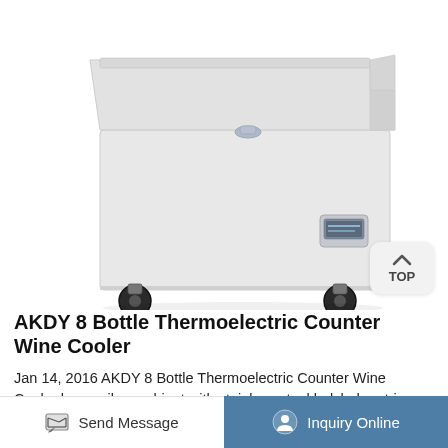[Figure (photo): White chest freezer/cooler on four black caster wheels, with a flat lid and a digital control panel on the front right side. Product sits on white background.]
AKDY 8 Bottle Thermoelectric Counter Wine Cooler
Jan 14, 2016 AKDY 8 Bottle Thermoelectric Counter Wine Cooler has a silver cabinet with stainless steel balck door trim. ... Model Info: WC0005:
Send Message   Inquiry Online